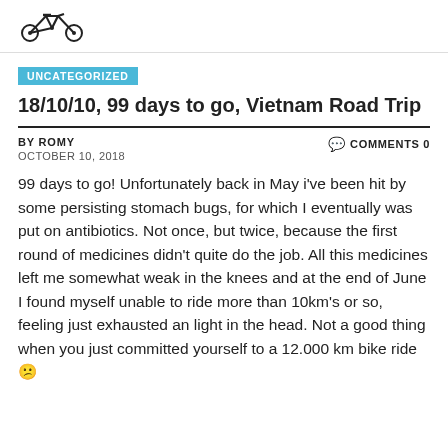[Figure (logo): Bicycle icon logo in black and white]
UNCATEGORIZED
18/10/10, 99 days to go, Vietnam Road Trip
BY ROMY  COMMENTS 0
OCTOBER 10, 2018
99 days to go! Unfortunately back in May i've been hit by some persisting stomach bugs, for which I eventually was put on antibiotics. Not once, but twice, because the first round of medicines didn't quite do the job. All this medicines left me somewhat weak in the knees and at the end of June I found myself unable to ride more than 10km's or so, feeling just exhausted an light in the head. Not a good thing when you just committed yourself to a 12.000 km bike ride 😕